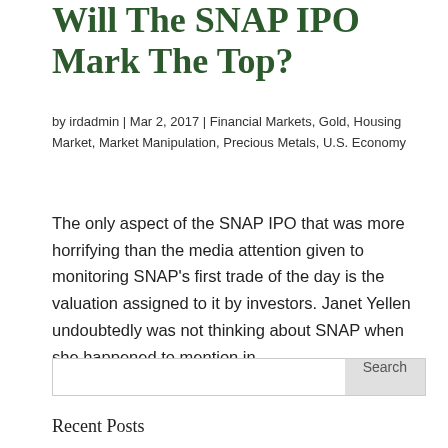Will The SNAP IPO Mark The Top?
by irdadmin | Mar 2, 2017 | Financial Markets, Gold, Housing Market, Market Manipulation, Precious Metals, U.S. Economy
The only aspect of the SNAP IPO that was more horrifying than the media attention given to monitoring SNAP’s first trade of the day is the valuation assigned to it by investors. Janet Yellen undoubtedly was not thinking about SNAP when she happened to mention in...
Search
Recent Posts